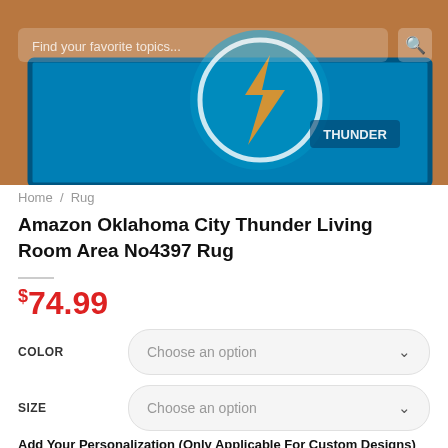[Figure (photo): Product hero image showing an Oklahoma City Thunder themed blue area rug on a wooden floor, with a semi-transparent search bar overlay at the top.]
Home / Rug
Amazon Oklahoma City Thunder Living Room Area No4397 Rug
$74.99
COLOR  Choose an option
SIZE  Choose an option
Add Your Personalization (Only Applicable For Custom Designs)